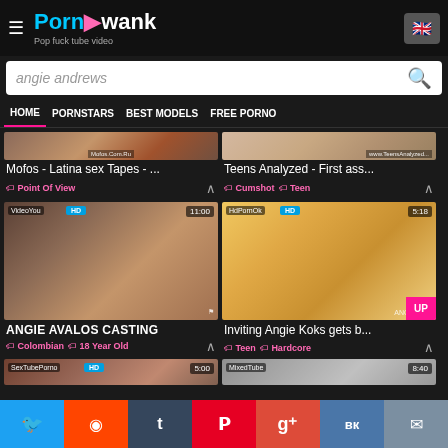PornAwank - Pop fuck tube video
angie andrews
HOME  PORNSTARS  BEST MODELS  FREE PORNO
[Figure (screenshot): Partial thumbnail of 'Mofos - Latina sex Tapes - ...' with watermark 'Mofos.Com.Ru']
Mofos - Latina sex Tapes - ...
Point Of View
[Figure (screenshot): Partial thumbnail of 'Teens Analyzed - First ass...' with watermark 'www.TeensAnalyzed...']
Teens Analyzed - First ass...
Cumshot  Teen
[Figure (screenshot): Video thumbnail for ANGIE AVALOS CASTING, source: VideoYou, HD, duration 11:00]
ANGIE AVALOS CASTING
Colombian  18 Year Old
[Figure (screenshot): Video thumbnail for Inviting Angie Koks gets b..., source: HdPornOk, HD, duration 5:18]
Inviting Angie Koks gets b...
Teen  Hardcore
[Figure (screenshot): Partial bottom thumbnail, source: SexTubePorno, HD, duration 5:00]
[Figure (screenshot): Partial bottom thumbnail, source: MixedTube, duration 8:40]
Twitter Reddit Tumblr Pinterest Google+ VK Email